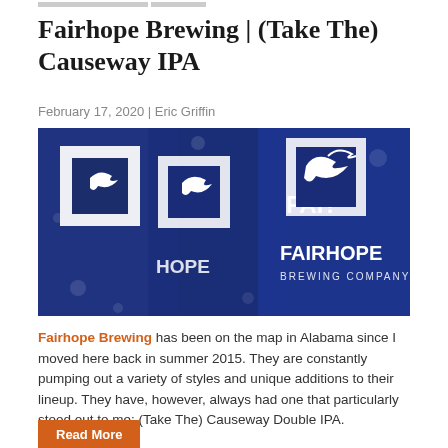Fairhope Brewing | (Take The) Causeway IPA
February 17, 2020 | Eric Griffin
[Figure (photo): Close-up photo of blue pint glasses with the Fairhope Brewing Company logo printed in white, showing a bird in flight above stylized text reading FAIRHOPE BREWING COMPANY]
Fairhope Brewing has been on the map in Alabama since I moved here back in summer 2015. They are constantly pumping out a variety of styles and unique additions to their lineup. They have, however, always had one that particularly stood out to me: (Take The) Causeway Double IPA.
Read More